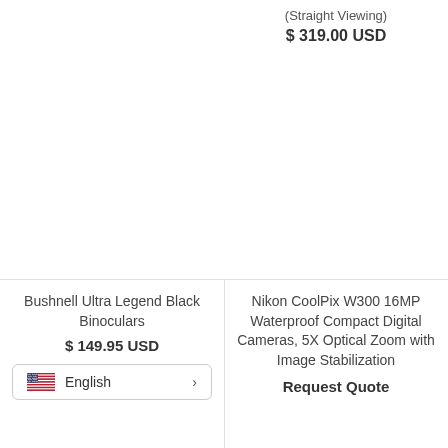(Straight Viewing)
$ 319.00 USD
Bushnell Ultra Legend Black Binoculars
$ 149.95 USD
English
Nikon CoolPix W300 16MP Waterproof Compact Digital Cameras, 5X Optical Zoom with Image Stabilization
Request Quote